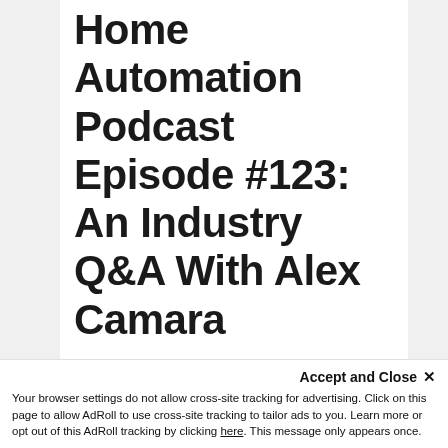Home Automation Podcast Episode #123: An Industry Q&A With Alex Camara
In this weeks home automation show of Automation Unplugged, Alex Camara shares thoughts on approaching conversations within the workplace revolving race and creating a safe space for all employees as well as the importance of a "restart" after COVID 19.
Accept and Close ✕ Your browser settings do not allow cross-site tracking for advertising. Click on this page to allow AdRoll to use cross-site tracking to tailor ads to you. Learn more or opt out of this AdRoll tracking by clicking here. This message only appears once.